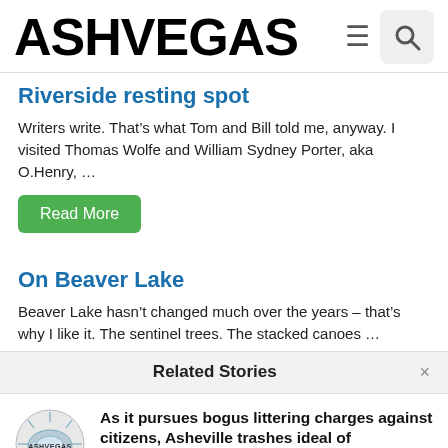ASHVEGAS
Riverside resting spot
Writers write. That’s what Tom and Bill told me, anyway. I visited Thomas Wolfe and William Sydney Porter, aka O.Henry, …
Read More
On Beaver Lake
Beaver Lake hasn’t changed much over the years – that’s why I like it. The sentinel trees. The stacked canoes …
Related Stories
As it pursues bogus littering charges against citizens, Asheville trashes ideal of compassionate city